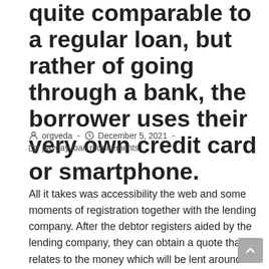quite comparable to a regular loan, but rather of going through a bank, the borrower uses their very own credit card or smartphone.
orgveda  -  December 5, 2021  -  payday loan requirements
All it takes was accessibility the web and some moments of registration together with the lending company. After the debtor registers aided by the lending company, they can obtain a quote that relates to the money which will be lent around. From that point, the borrowers can decide whether or not to take the offer or test for a better package from another lender.